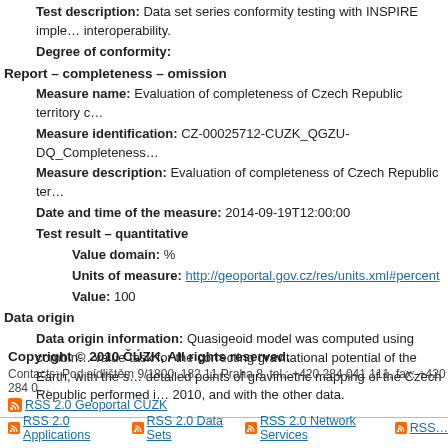Test description: Data set series conformity testing with INSPIRE implementation interoperability.
Degree of conformity:
Report – completeness – omission
Measure name: Evaluation of completeness of Czech Republic territory c…
Measure identification: CZ-00025712-CUZK_QGZU-DQ_Completeness…
Measure description: Evaluation of completeness of Czech Republic ter…
Date and time of the measure: 2014-09-19T12:00:00
Test result – quantitative
Value domain: %
Units of measure: http://geoportal.gov.cz/res/units.xml#percent
Value: 100
Data origin
Data origin information: Quasigeoid model was computed using combined value task for the correcting gravitational potential of the Earth, with the s detailed points of gravimetric mapping of the Czech Republic performed i 2010, and with the other data.
Copyright © 2010 ČÚZK, All rights reserved.
Contacts: Pod sídlištěm 9/1800, 182 11 Praha 8, tel.: +420 284 041 111, fax: +420 284 0…
RSS 2.0 Geoportal ČÚZK
RSS 2.0 Applications  RSS 2.0 Data Sets  RSS 2.0 Network Services  RSS…